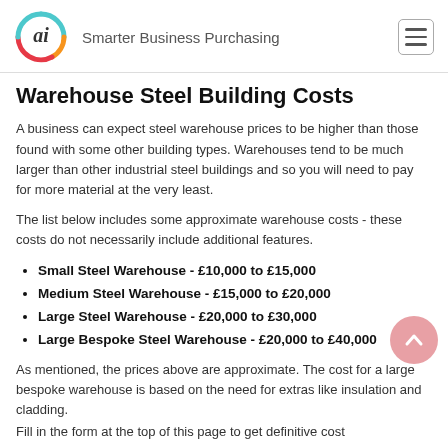ai — Smarter Business Purchasing
Warehouse Steel Building Costs
A business can expect steel warehouse prices to be higher than those found with some other building types. Warehouses tend to be much larger than other industrial steel buildings and so you will need to pay for more material at the very least.
The list below includes some approximate warehouse costs - these costs do not necessarily include additional features.
Small Steel Warehouse - £10,000 to £15,000
Medium Steel Warehouse - £15,000 to £20,000
Large Steel Warehouse - £20,000 to £30,000
Large Bespoke Steel Warehouse - £20,000 to £40,000
As mentioned, the prices above are approximate. The cost for a large bespoke warehouse is based on the need for extras like insulation and cladding.
Fill in the form at the top of this page to get definitive cost...